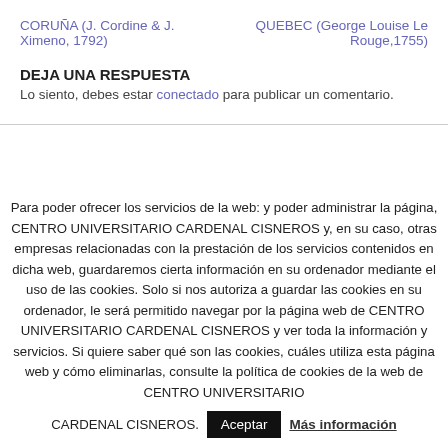CORUÑA (J. Cordine & J. Ximeno, 1792)
QUEBEC (George Louise Le Rouge,1755)
DEJA UNA RESPUESTA
Lo siento, debes estar conectado para publicar un comentario.
Para poder ofrecer los servicios de la web: y poder administrar la página, CENTRO UNIVERSITARIO CARDENAL CISNEROS y, en su caso, otras empresas relacionadas con la prestación de los servicios contenidos en dicha web, guardaremos cierta información en su ordenador mediante el uso de las cookies. Solo si nos autoriza a guardar las cookies en su ordenador, le será permitido navegar por la página web de CENTRO UNIVERSITARIO CARDENAL CISNEROS y ver toda la información y servicios. Si quiere saber qué son las cookies, cuáles utiliza esta página web y cómo eliminarlas, consulte la política de cookies de la web de CENTRO UNIVERSITARIO CARDENAL CISNEROS.